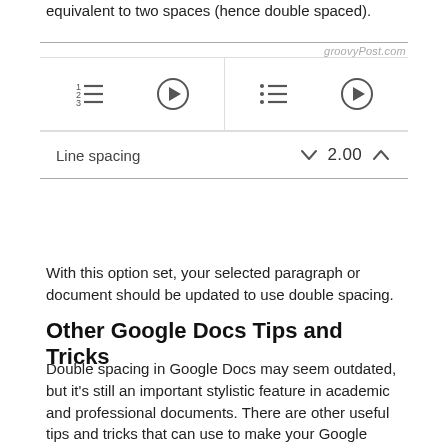equivalent to two spaces (hence double spaced).
[Figure (screenshot): Google Docs mobile UI showing line spacing panel with list and play icons on left and right halves, and a Line spacing control showing value 2.00 with up/down chevrons. Watermark: groovyPost.com]
With this option set, your selected paragraph or document should be updated to use double spacing.
Other Google Docs Tips and Tricks
Double spacing in Google Docs may seem outdated, but it's still an important stylistic feature in academic and professional documents. There are other useful tips and tricks that can use to make your Google documents as